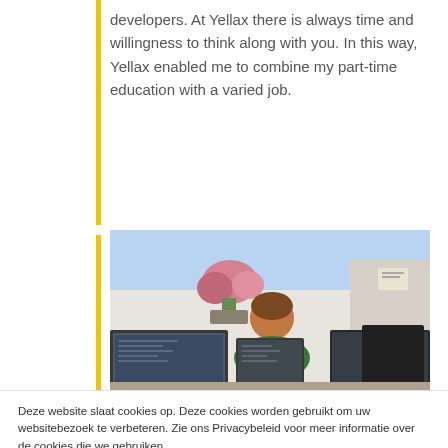developers. At Yellax there is always time and willingness to think along with you. In this way, Yellax enabled me to combine my part-time education with a varied job.
[Figure (photo): Person seen from behind sitting at a desk with multiple computer monitors. Green plants and flowers visible in the background through a window.]
Deze website slaat cookies op. Deze cookies worden gebruikt om uw websitebezoek te verbeteren. Zie ons Privacybeleid voor meer informatie over de cookies die we gebruiken.
Wanneer u weigert, wordt uw informatie niet bijgehouden. Een enkele cookie wordt gebruikt om te onthouden dat u deze cookies hebt geweigerd.